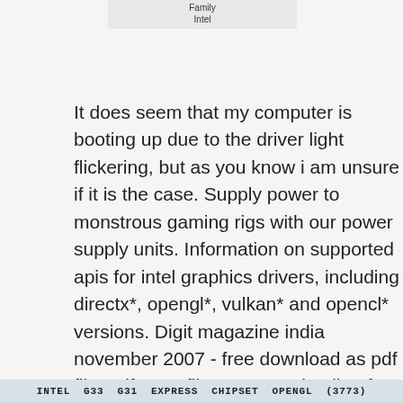[Figure (screenshot): Top partial UI element showing 'Family Intel' label in a light gray bar]
It does seem that my computer is booting up due to the driver light flickering, but as you know i am unsure if it is the case. Supply power to monstrous gaming rigs with our power supply units. Information on supported apis for intel graphics drivers, including directx*, opengl*, vulkan* and opencl* versions. Digit magazine india november 2007 - free download as pdf file .pdf , text file .txt or read online for free. In some cases our guess may be incorrect. The package provides the installation files for intel g33/g31 express chipset family display driver version 8.
INTEL G33 G31 EXPRESS CHIPSET OPENGL (3773)